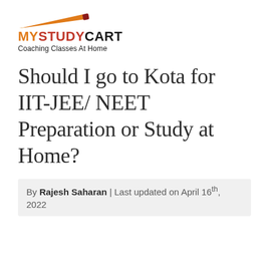[Figure (logo): MyStudyCart logo with pencil icon above and tagline 'Coaching Classes At Home' below]
Should I go to Kota for IIT-JEE/ NEET Preparation or Study at Home?
By Rajesh Saharan | Last updated on April 16th, 2022